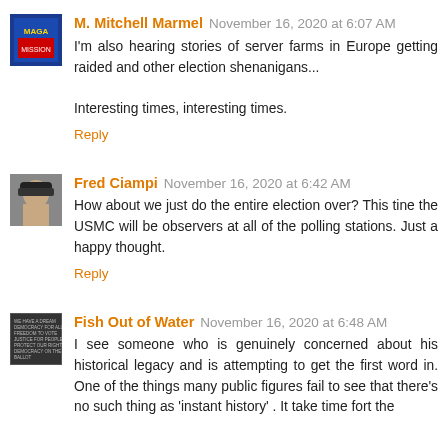M. Mitchell Marmel November 16, 2020 at 6:07 AM
I'm also hearing stories of server farms in Europe getting raided and other election shenanigans...

Interesting times, interesting times.
Reply
Fred Ciampi November 16, 2020 at 6:42 AM
How about we just do the entire election over? This tine the USMC will be observers at all of the polling stations. Just a happy thought.
Reply
Fish Out of Water November 16, 2020 at 6:48 AM
I see someone who is genuinely concerned about his historical legacy and is attempting to get the first word in. One of the things many public figures fail to see that there's no such thing as 'instant history' . It take time fort the